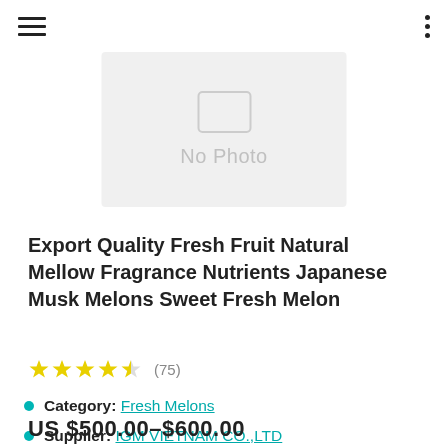Navigation header with hamburger menu and options
[Figure (photo): Product image placeholder showing 'No Photo' text on a light gray background]
Export Quality Fresh Fruit Natural Mellow Fragrance Nutrients Japanese Musk Melons Sweet Fresh Melon
★★★★☆ (75)
Category: Fresh Melons
Supplier: IGM VIETNAM CO.,LTD
US $500.00–$600.00